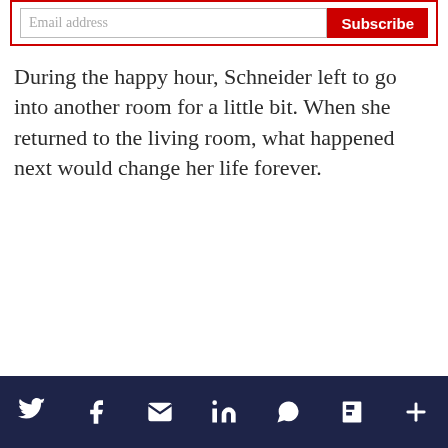[Figure (other): Email subscription box with text input labeled 'Email address' and a red 'Subscribe' button, bordered in red]
During the happy hour, Schneider left to go into another room for a little bit. When she returned to the living room, what happened next would change her life forever.
Social share icons: Twitter, Facebook, Email, LinkedIn, WhatsApp, Flipboard, More (+)